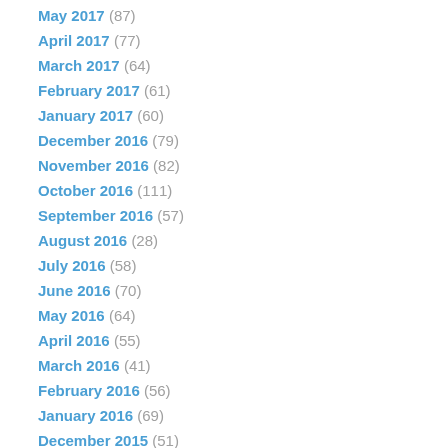May 2017 (87)
April 2017 (77)
March 2017 (64)
February 2017 (61)
January 2017 (60)
December 2016 (79)
November 2016 (82)
October 2016 (111)
September 2016 (57)
August 2016 (28)
July 2016 (58)
June 2016 (70)
May 2016 (64)
April 2016 (55)
March 2016 (41)
February 2016 (56)
January 2016 (69)
December 2015 (51)
November 2015 (37)
October 2015 (47)